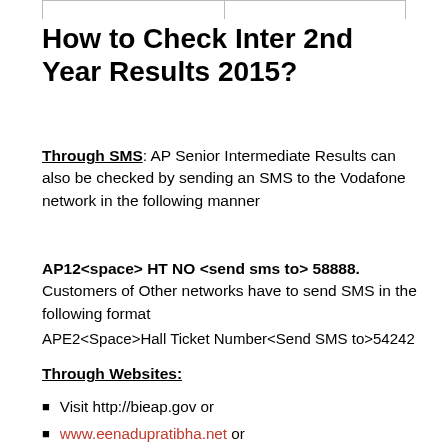How to Check Inter 2nd Year Results 2015?
Through SMS: AP Senior Intermediate Results can also be checked by sending an SMS to the Vodafone network in the following manner
AP12<space> HT NO <send sms to> 58888. Customers of Other networks have to send SMS in the following format
APE2<Space>Hall Ticket Number<Send SMS to>54242
Through Websites:
Visit http://bieap.gov or
www.eenadupratibha.net or
htpp://results.cgg.gov.in or
www.indiaresults.com